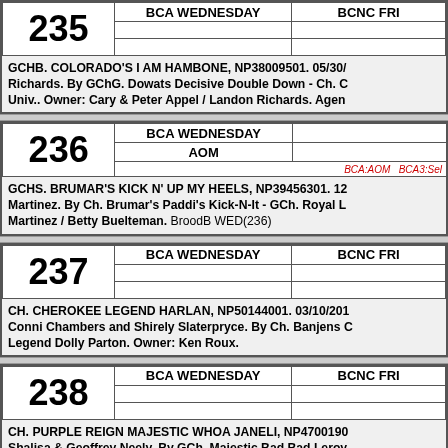| 235 | BCA WEDNESDAY | BCNC FRI |
| --- | --- | --- |
|  |  |  |
|  |  |  |
GCHB. COLORADO'S I AM HAMBONE, NP38009501. 05/30/ Richards. By GChG. Dowats Decisive Double Down - Ch. C Univ.. Owner: Cary & Peter Appel / Landon Richards. Agen
| 236 | BCA WEDNESDAY |  |
| --- | --- | --- |
|  | AOM |  |
|  | BCA:AOM  BCA3:Sel |  |
GCHS. BRUMAR'S KICK N' UP MY HEELS, NP39456301. 12 Martinez. By Ch. Brumar's Paddi's Kick-N-It - GCh. Royal L Martinez / Betty Buelteman. BroodB WED(236)
| 237 | BCA WEDNESDAY | BCNC FRI |
| --- | --- | --- |
|  |  |  |
|  |  |  |
CH. CHEROKEE LEGEND HARLAN, NP50144001. 03/10/201 Conni Chambers and Shirely Slaterpryce. By Ch. Banjens C Legend Dolly Parton. Owner: Ken Roux.
| 238 | BCA WEDNESDAY | BCNC FRI |
| --- | --- | --- |
|  |  |  |
|  |  |  |
CH. PURPLE REIGN MAJESTIC WHOA JANELI, NP4700190 Shalisa & Geoffrey Neely. By GCh. Majestic Bad Bad Leroy Snow. Owner: George Flores / Shalisa Neely.